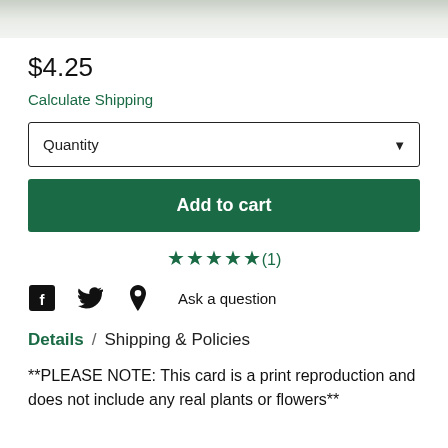[Figure (photo): Top portion of a product image showing light gray/green blurred plant background]
$4.25
Calculate Shipping
Quantity
Add to cart
★★★★★(1)
Ask a question
Details / Shipping & Policies
**PLEASE NOTE: This card is a print reproduction and does not include any real plants or flowers**